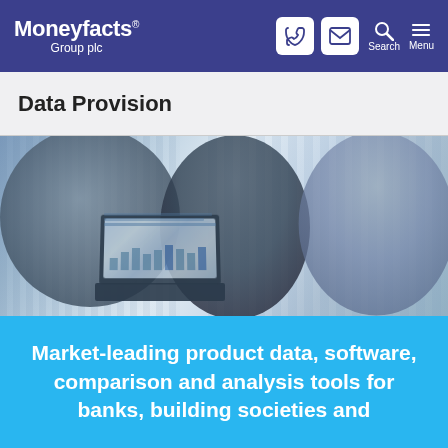Moneyfacts Group plc
Data Provision
[Figure (photo): Business professionals collaborating around a laptop with financial data, overlaid with city building imagery in blue tones]
Market-leading product data, software, comparison and analysis tools for banks, building societies and